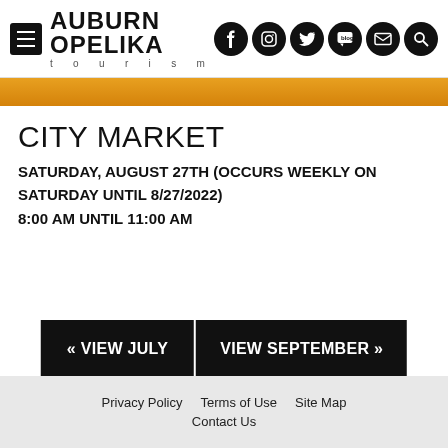AUBURN OPELIKA tourism
CITY MARKET
SATURDAY, AUGUST 27TH (OCCURS WEEKLY ON SATURDAY UNTIL 8/27/2022)
8:00 AM UNTIL 11:00 AM
« VIEW JULY
VIEW SEPTEMBER »
Privacy Policy   Terms of Use   Site Map   Contact Us